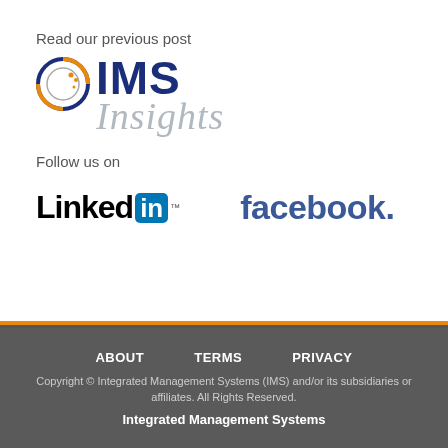Read our previous post
[Figure (logo): IMS Insights logo with circular globe icon, bold dark blue IMS text and italic grey Insights text]
Follow us on
[Figure (logo): LinkedIn logo with black text and blue 'in' box, followed by Facebook logo in blue]
ABOUT   TERMS   PRIVACY
Copyright © Integrated Management Systems (IMS) and/or its subsidiaries or affiliates. All Rights Reserved.
Integrated Management Systems